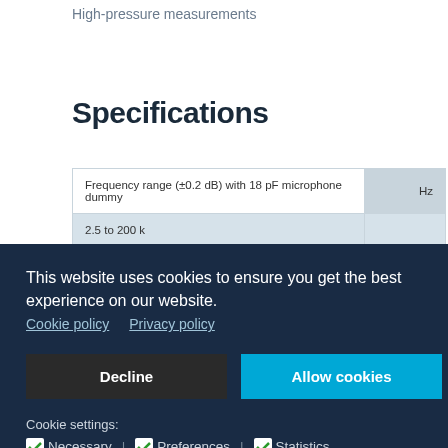High-pressure measurements
Specifications
| Frequency range (±0.2 dB) with 18 pF microphone dummy | Hz |
| --- | --- |
| 2.5 to 200 k |  |
This website uses cookies to ensure you get the best experience on our website.
Cookie policy   Privacy policy
Decline   Allow cookies
Cookie settings:
☑ Necessary | ☑ Preferences | ☑ Statistics